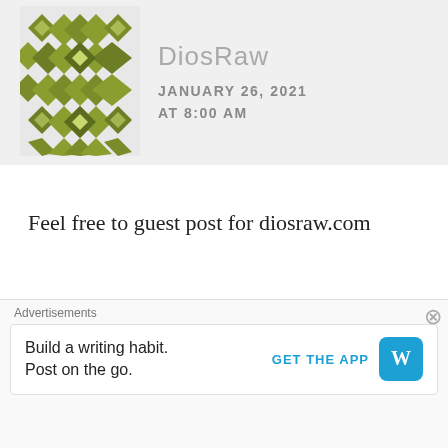[Figure (illustration): Olive/green geometric quilt-pattern avatar for DiosRaw blogger]
DiosRaw
JANUARY 26, 2021
AT 8:00 AM
Feel free to guest post for diosraw.com
★ Liked by 1 person
[Figure (photo): Black and white circular profile photo of Rain Alchemist, a person carrying a bag]
Rain Alchemist
JANUARY 26, 2021
AT 8:01 AM
Advertisements
Build a writing habit. Post on the go.
GET THE APP